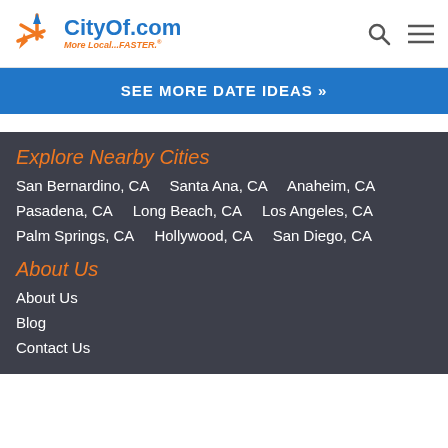CityOf.com — More Local...FASTER.
SEE MORE DATE IDEAS »
Explore Nearby Cities
San Bernardino, CA    Santa Ana, CA    Anaheim, CA
Pasadena, CA    Long Beach, CA    Los Angeles, CA
Palm Springs, CA    Hollywood, CA    San Diego, CA
About Us
About Us
Blog
Contact Us